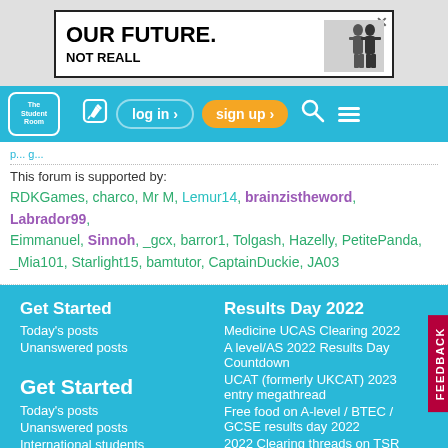[Figure (other): Advertisement banner reading OUR FUTURE. NOT REALL with silhouette image]
The Student Room — log in | sign up
This forum is supported by: RDKGames, charco, Mr M, Lemur14, brainzistheword, Labrador99, Eimmanuel, Sinnoh, _gcx, barror1, Tolgash, Hazelly, PetitePanda, _Mia101, Starlight15, bamtutor, CaptainDuckie, JA03
Get Started
Today's posts
Unanswered posts
Get Started
Today's posts
Unanswered posts
International students
Ad Privacy Settings
Results Day 2022
Medicine UCAS Clearing 2022
A level/AS 2022 Results Day Countdown
UCAT (formerly UKCAT) 2023 entry megathread
Free food on A-level / BTEC / GCSE results day 2022
2022 Clearing threads on TSR